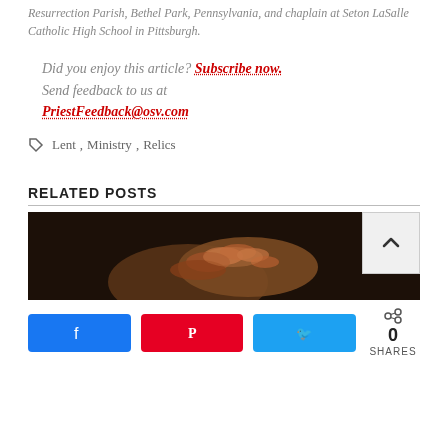Resurrection Parish, Bethel Park, Pennsylvania, and chaplain at Seton LaSalle Catholic High School in Pittsburgh.
Did you enjoy this article? Subscribe now.
Send feedback to us at PriestFeedback@osv.com
Lent, Ministry, Relics
RELATED POSTS
[Figure (photo): Two hands clasped together in prayer or comfort, close-up shot on dark background.]
[Figure (other): Social share bar with Facebook, Pinterest, Twitter buttons and a share count showing 0 SHARES.]